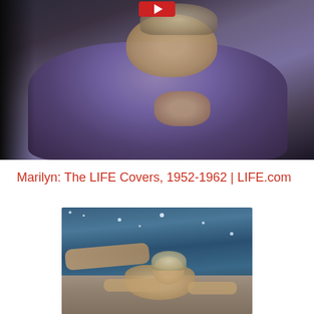[Figure (photo): A person wearing a purple/lavender robe or towel, photographed from below the chin showing neck and chest area, dark blurry background, appears to be a still from a video. A small red play button icon is visible at the top center.]
Marilyn: The LIFE Covers, 1952-1962 | LIFE.com
[Figure (photo): A person with blonde hair in a swimming pool or body of water, lying at the edge of a stone or concrete ledge, water sparkling in the background. The person appears to be Marilyn Monroe.]